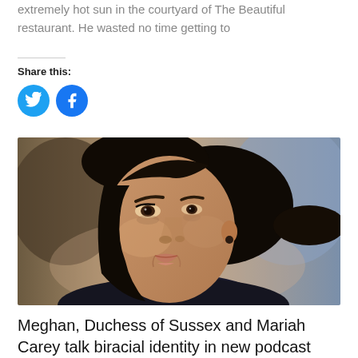extremely hot sun in the courtyard of The Beautiful restaurant. He wasted no time getting to
Share this:
[Figure (infographic): Twitter and Facebook share buttons as blue circular icons]
[Figure (photo): Close-up portrait photo of Meghan, Duchess of Sussex, looking to the side with dark hair pulled back]
Meghan, Duchess of Sussex and Mariah Carey talk biracial identity in new podcast